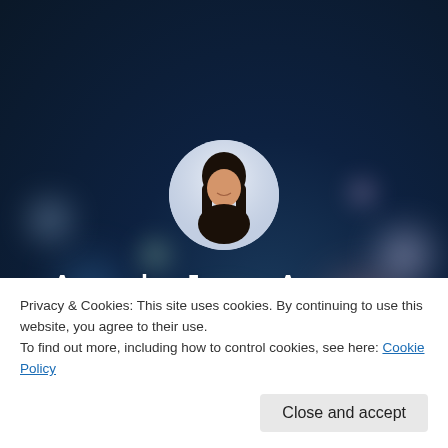[Figure (photo): Blurred bokeh night city background with dark blue tones and colorful out-of-focus light circles]
[Figure (photo): Circular profile photo of Angela June Aranas Kent, a woman with long dark hair wearing a black top]
Angela June Aranas Kent
Professional Portfolio
Privacy & Cookies: This site uses cookies. By continuing to use this website, you agree to their use.
To find out more, including how to control cookies, see here: Cookie Policy
Close and accept